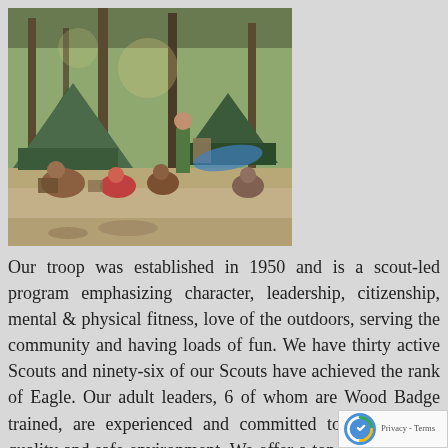[Figure (photo): Outdoor Boy Scout camp scene with scouts and tents in a wooded area. Multiple scouts sitting and standing around a campsite with tents and trees visible.]
Our troop was established in 1950 and is a scout-led program emphasizing character, leadership, citizenship, mental & physical fitness, love of the outdoors, serving the community and having loads of fun. We have thirty active Scouts and ninety-six of our Scouts have achieved the rank of Eagle. Our adult leaders, 6 of whom are Wood Badge trained, are experienced and committed to providing a quality and safe environment. We offer a top-notch Trail to First Class program for new scouts entering the troop. The program quickly immerses the boys in scouting values and skills while assisting them to attain the First Class rank within 12-18 months. In addition, the Scouts of Troop 121 camp ten